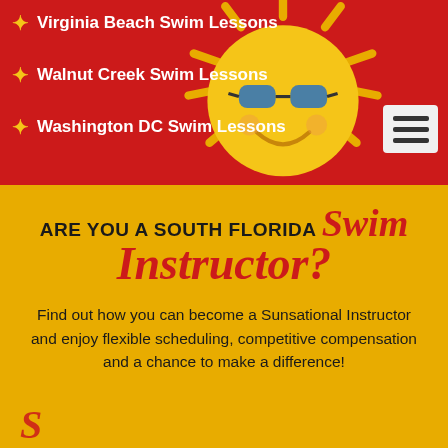Virginia Beach Swim Lessons
Walnut Creek Swim Lessons
Washington DC Swim Lessons
ARE YOU A SOUTH FLORIDA Swim Instructor?
Find out how you can become a Sunsational Instructor and enjoy flexible scheduling, competitive compensation and a chance to make a difference!